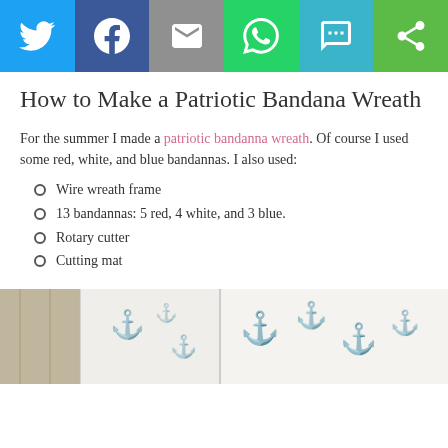[Figure (screenshot): Social media sharing buttons bar: Twitter (blue), Facebook (dark blue), Email (grey), WhatsApp (green), SMS (teal), Other (green)]
How to Make a Patriotic Bandana Wreath
For the summer I made a patriotic bandanna wreath. Of course I used some red, white, and blue bandannas. I also used:
Wire wreath frame
13 bandannas: 5 red, 4 white, and 3 blue.
Rotary cutter
Cutting mat
[Figure (photo): Photo of white and navy blue anchor-patterned bandanas laid out, showing details of the fabric pattern.]